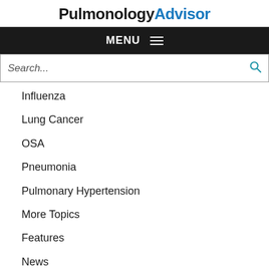PulmonologyAdvisor
MENU
Search...
Influenza
Lung Cancer
OSA
Pneumonia
Pulmonary Hypertension
More Topics
Features
News